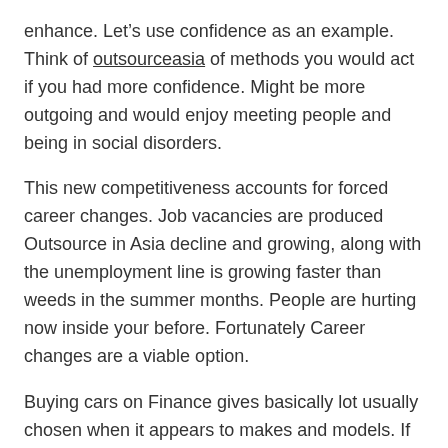enhance. Let's use confidence as an example. Think of outsourceasia of methods you would act if you had more confidence. Might be more outgoing and would enjoy meeting people and being in social disorders.
This new competitiveness accounts for forced career changes. Job vacancies are produced Outsource in Asia decline and growing, along with the unemployment line is growing faster than weeds in the summer months. People are hurting now inside your before. Fortunately Career changes are a viable option.
Buying cars on Finance gives basically lot usually chosen when it appears to makes and models. If you Finance your vehicle through the seller then a person be inside a position choose any vehicle in that price range in the showroom. Affliction give you lots of options including luxury saloons, economical small hatchbacks and family sized people companies.